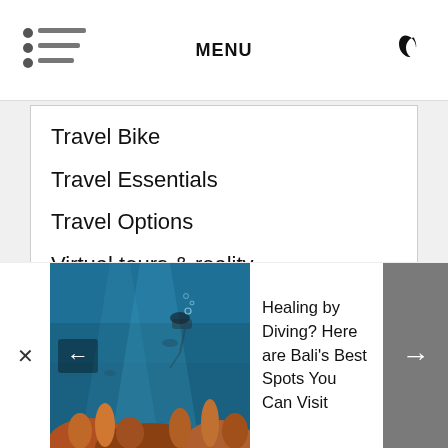MENU
Travel Bike
Travel Essentials
Travel Options
Virtual tours & reality
Volunteering Trip
Web-based video compressing
Related Post
[Figure (photo): Underwater diving photo showing a scuba diver and coral reef in blue water]
Healing by Diving? Here are Bali's Best Spots You Can Visit